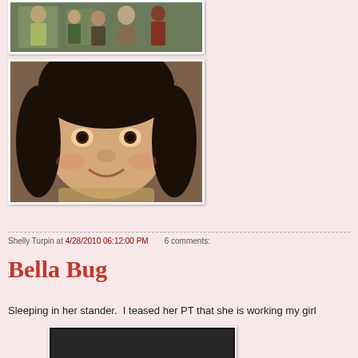[Figure (photo): Group photo of several people including children and adults]
[Figure (photo): Close-up portrait of a young child with dark hair smiling at camera]
Shelly Turpin at 4/28/2010 06:12:00 PM    6 comments:
Bella Bug
Sleeping in her stander.  I teased her PT that she is working my girl
[Figure (photo): Photo at bottom of post, partially visible]